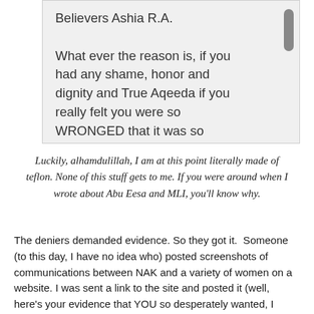[Figure (screenshot): Screenshot of a message bubble with grey background showing partial text: 'Believers Ashia R.A. What ever the reason is, if you had any shame, honor and dignity and True Aqeeda if you really felt you were so WRONGED that it was so' with a scrollbar on the right side.]
Luckily, alhamdulillah, I am at this point literally made of teflon. None of this stuff gets to me. If you were around when I wrote about Abu Eesa and MLI, you'll know why.
The deniers demanded evidence. So they got it. Someone (to this day, I have no idea who) posted screenshots of communications between NAK and a variety of women on a website. I was sent a link to the site and posted it (well, here's your evidence that YOU so desperately wanted, I never asked for it when I first heard about all of this), but the site was inaccessible